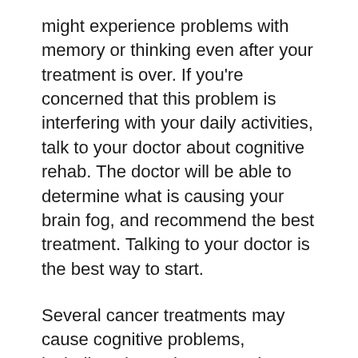might experience problems with memory or thinking even after your treatment is over. If you're concerned that this problem is interfering with your daily activities, talk to your doctor about cognitive rehab. The doctor will be able to determine what is causing your brain fog, and recommend the best treatment. Talking to your doctor is the best way to start.
Several cancer treatments may cause cognitive problems, including chemotherapy and immunotherapy. Some people experience mild cognitive problems after chemotherapy, while others experience more severe difficulties. However, the condition may also be caused by the cancer's treatment, or by other factors such as inadequate nutrition, poor sleep, anxiety and depression. Brain fog symptoms may become